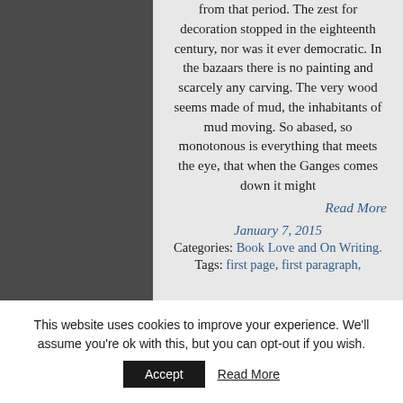from that period. The zest for decoration stopped in the eighteenth century, nor was it ever democratic. In the bazaars there is no painting and scarcely any carving. The very wood seems made of mud, the inhabitants of mud moving. So abased, so monotonous is everything that meets the eye, that when the Ganges comes down it might
Read More
January 7, 2015
Categories: Book Love and On Writing.
Tags: first page, first paragraph,
This website uses cookies to improve your experience. We'll assume you're ok with this, but you can opt-out if you wish.
Accept
Read More